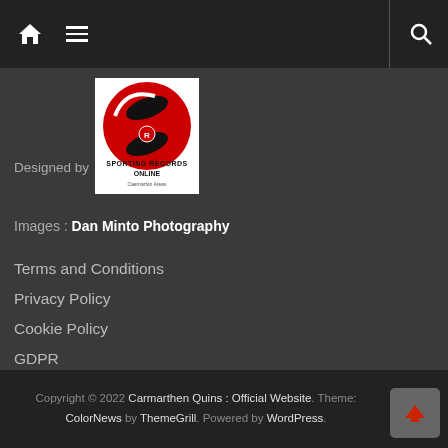Navigation bar with home icon, menu icon, divider, and search icon
Designed by [Sporting Records Online logo]
Images : Dan Minto Photography
Terms and Conditions
Privacy Policy
Cookie Policy
GDPR
Login
Copyright © 2022 Carmarthen Quins : Official Website. Theme: ColorNews by ThemeGrill. Powered by WordPress.